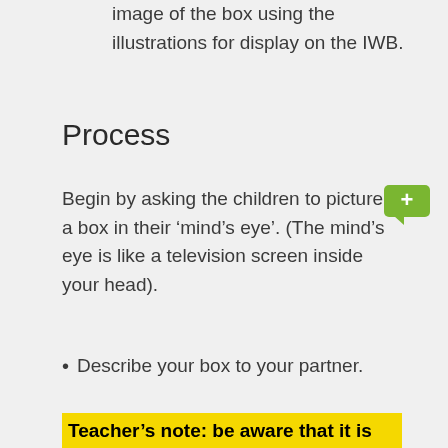image of the box using the illustrations for display on the IWB.
Process
Begin by asking the children to picture a box in their ‘mind’s eye’. (The mind’s eye is like a television screen inside your head).
Describe your box to your partner.
Teacher’s note: be aware that it is estimated that 1-3% of